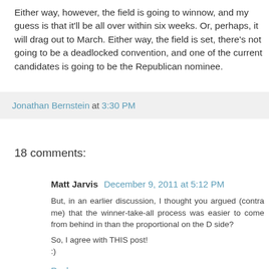Either way, however, the field is going to winnow, and my guess is that it'll be all over within six weeks. Or, perhaps, it will drag out to March. Either way, the field is set, there's not going to be a deadlocked convention, and one of the current candidates is going to be the Republican nominee.
Jonathan Bernstein at 3:30 PM
18 comments:
Matt Jarvis  December 9, 2011 at 5:12 PM
But, in an earlier discussion, I thought you argued (contra me) that the winner-take-all process was easier to come from behind in than the proportional on the D side?

So, I agree with THIS post!
:)
Reply